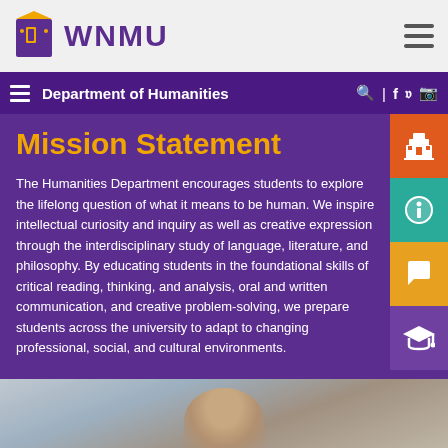WNMU
Department of Humanities
Mission Statement
The Humanities Department encourages students to explore the lifelong question of what it means to be human.  We inspire intellectual curiosity and inquiry as well as creative expression through the interdisciplinary study of language, literature, and philosophy.  By educating students in the foundational skills of critical reading, thinking, and analysis, oral and written communication, and creative problem-solving, we prepare students across the university to adapt to changing professional, social, and cultural environments.
[Figure (photo): Photo of a student or person in a classroom/educational setting, partially visible at the bottom of the page]